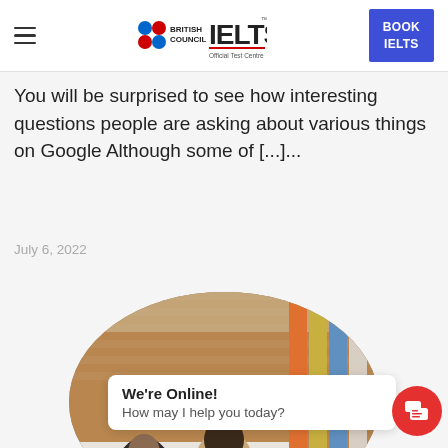British Council IELTS Official Test Centre | BOOK IELTS
You will be surprised to see how interesting questions people are asking about various things on Google Although some of [...]...
July 6, 2022
[Figure (photo): Circular cropped photo of two people working at a table in front of a brick wall and colorful vertical panels]
We're Online! How may I help you today?